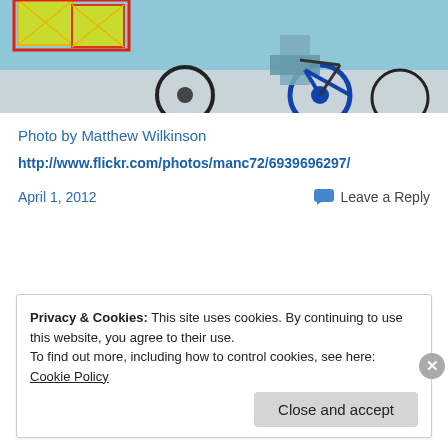[Figure (photo): Partial photo of colorful kite-like decorations and bicycles on a street, cropped at top of page.]
Photo by Matthew Wilkinson
http://www.flickr.com/photos/manc72/6939696297/
April 1, 2012
Leave a Reply
Privacy & Cookies: This site uses cookies. By continuing to use this website, you agree to their use.
To find out more, including how to control cookies, see here: Cookie Policy